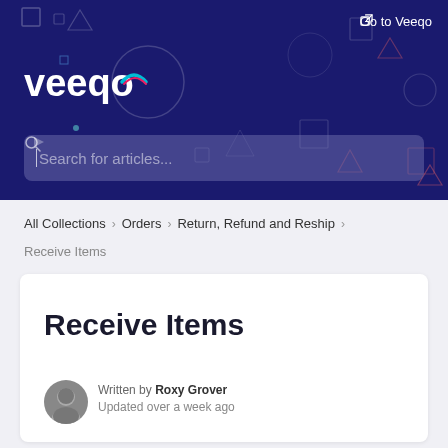[Figure (screenshot): Veeqo help center header banner with dark navy background, geometric shapes decorations, Veeqo logo, 'Go to Veeqo' link, and search bar with placeholder 'Search for articles...']
All Collections > Orders > Return, Refund and Reship
Receive Items
Receive Items
Written by Roxy Grover
Updated over a week ago